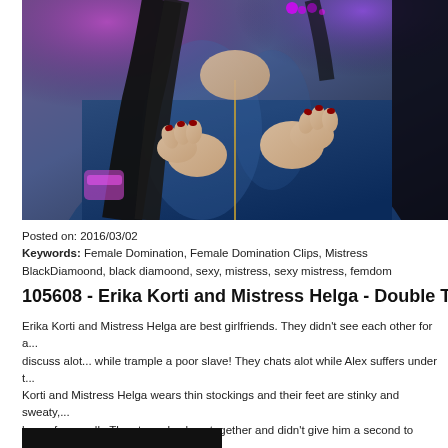[Figure (photo): Photo of a woman in a shiny blue latex jacket with dark hair and red nails, partially unzipping the jacket, with purple lighting in the background]
Posted on: 2016/03/02
Keywords: Female Domination, Female Domination Clips, Mistress BlackDiamoond, black diamoond, sexy, mistress, sexy mistress, femdom
105608 - Erika Korti and Mistress Helga - Double Tramplin...
Erika Korti and Mistress Helga are best girlfriends. They didn't see each other for a... discuss alot... while trample a poor slave! They chats alot while Alex suffers under t... Korti and Mistress Helga wears thin stockings and their feet are stinky and sweaty... home from walk. They trample slave together and didn't give him a second to rest... only on one feet and on tiptoes. They also pressing hard slave's chest and belly wh... and on one foot in the same time, and also jumps on him! Erika Korti and Mistress ... slave's head and face, very brutal pressing his lips and nose with sweaty and stinky... stomping him for fun.
[Figure (photo): Dark/black image at the bottom of the page]